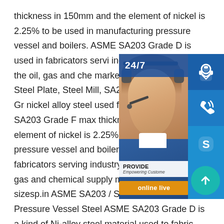thickness in 150mm and the element of nickel is 2.25% to be used in manufacturing pressure vessel and boilers. ASME SA203 Grade D is used in fabricators serving industry, especially in the oil, gas and chemical markets.sp.info SA203Gr.D Steel Plate, Steel Mill, SA203Gr.D ASME SA203 Gr nickel alloy steel used for welded pressure vessels. SA203 Grade F max thickness is 150mm and the element of nickel is 2.25% to be used in pressure vessel and boilers. ASME SA203 used in fabricators serving industry, especially in the oil, gas and chemical supply markets. Supply sizesp.info ASME SA203 / SA203M Grade D Pressure Vessel Steel ASME SA203 Grade D is a kind of Ni-alloy steel material used to fabric high temperature pressure vessels. ASTM
[Figure (infographic): Customer service widget overlay showing a woman with headset, 24/7 label, phone icon, Skype icon, headset icon, 'PROVIDE Empowering Customers' banner, and 'online live' button]